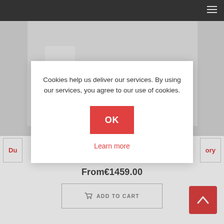Navigation bar with hamburger menu
[Figure (photo): Product photo of black baby strollers/prams on white background — a carrycot and a seat stroller side by side]
Du... ...ory
From€1459.00
ADD TO CART
Cookies help us deliver our services. By using our services, you agree to our use of cookies.
OK
Learn more